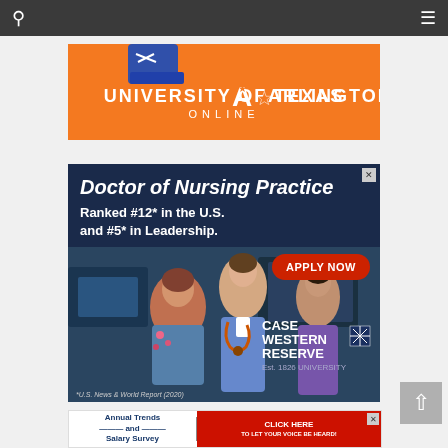Navigation bar with search and menu icons
[Figure (advertisement): University of Texas Arlington Online advertisement on orange background with blue sneakers and logo]
[Figure (advertisement): Case Western Reserve University Doctor of Nursing Practice ad. Text: Doctor of Nursing Practice Ranked #12* in the U.S. and #5* in Leadership. APPLY NOW. *U.S. News & World Report (2020). Photo of nurses/healthcare professionals.]
[Figure (advertisement): Annual Trends and Salary Survey ad with CLICK HERE TO LET YOUR VOICE BE HEARD button]